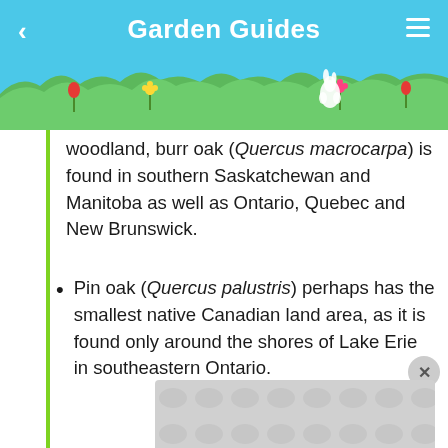Garden Guides
woodland, burr oak (Quercus macrocarpa) is found in southern Saskatchewan and Manitoba as well as Ontario, Quebec and New Brunswick.
Pin oak (Quercus palustris) perhaps has the smallest native Canadian land area, as it is found only around the shores of Lake Erie in southeastern Ontario.
Dwarf Chinkapin Oak
Yet an